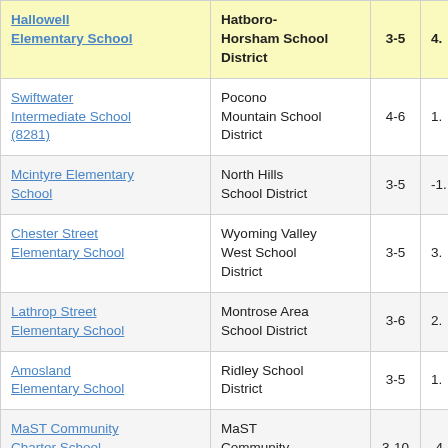| School | District | Grades | Score |
| --- | --- | --- | --- |
| Hallowell Elementary School | Hatboro-Horsham School District | 3-5 | 4. |
| Swiftwater Intermediate School (8281) | Pocono Mountain School District | 4-6 | 1. |
| Mcintyre Elementary School | North Hills School District | 3-5 | -1. |
| Chester Street Elementary School | Wyoming Valley West School District | 3-5 | 3. |
| Lathrop Street Elementary School | Montrose Area School District | 3-6 | 2. |
| Amosland Elementary School | Ridley School District | 3-5 | 1. |
| MaST Community Charter School | MaST Community Charter School | 3-10 | -4. |